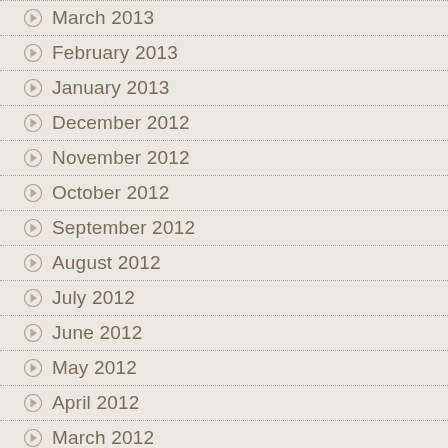March 2013
February 2013
January 2013
December 2012
November 2012
October 2012
September 2012
August 2012
July 2012
June 2012
May 2012
April 2012
March 2012
February 2012
January 2012